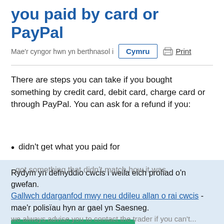you paid by card or PayPal
Mae'r cyngor hwn yn berthnasol i
There are steps you can take if you bought something by credit card, debit card, charge card or through PayPal. You can ask for a refund if you:
didn't get what you paid for
Rydym yn defnyddio cwcis i wella eich profiad o'n gwefan. Gallwch ddarganfod mwy neu ddileu allan o rai cwcis - mae'r polisïau hyn ar gael yn Saesneg.
Rwy'n iawn gyda cwcis ×